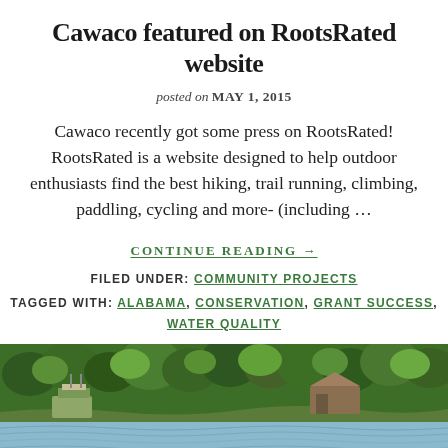Cawaco featured on RootsRated website
posted on MAY 1, 2015
Cawaco recently got some press on RootsRated! RootsRated is a website designed to help outdoor enthusiasts find the best hiking, trail running, climbing, paddling, cycling and more- (including ...
CONTINUE READING →
FILED UNDER: COMMUNITY PROJECTS
TAGGED WITH: ALABAMA, CONSERVATION, GRANT SUCCESS, WATER QUALITY
[Figure (photo): Aerial/water-level view of a lake with forested shoreline and a dock/boathouse structure visible, calm rippling water in foreground]